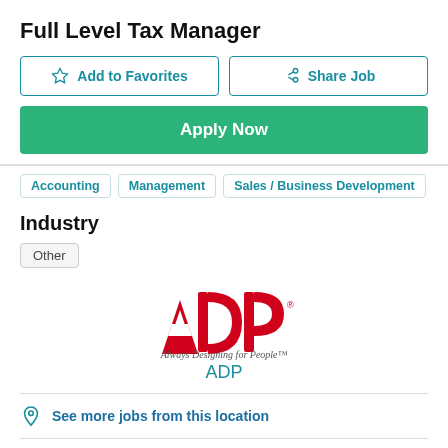Full Level Tax Manager
[Figure (infographic): Add to Favorites and Share Job buttons]
[Figure (infographic): Apply Now green button]
Accounting
Management
Sales / Business Development
Industry
Other
[Figure (logo): ADP logo with tagline 'Always Designing for People']
ADP
See more jobs from this location
See more jobs from this company